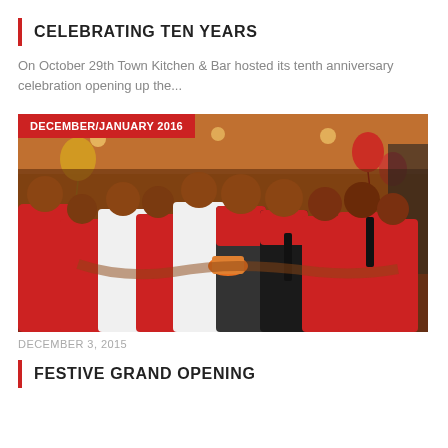CELEBRATING TEN YEARS
On October 29th Town Kitchen & Bar hosted its tenth anniversary celebration opening up the...
[Figure (photo): Group photo of restaurant staff in red shirts and white chef coats holding a cake, with orange/red balloons and festive decorations in background. Red overlay badge reads DECEMBER/JANUARY 2016.]
DECEMBER 3, 2015
FESTIVE GRAND OPENING